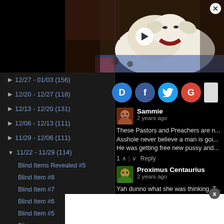[Figure (screenshot): Video thumbnail of a golden retriever/white dog lying down with a play button overlay, with close button in top right]
▶ 12/27 - 01/03 (156)
▶ 12/20 - 12/27 (118)
▶ 12/13 - 12/20 (131)
▶ 12/06 - 12/13 (111)
▶ 11/29 - 12/06 (111)
▼ 11/22 - 11/29 (114)
Blind Items Revealed #5
Blind Item #8
Blind Item #7
Blind Item #6
Blind Item #5
Bli...
[Figure (screenshot): Social login icons: Disqus (D), Facebook (f), Twitter bird, Google (G), and a white rectangle]
Sammie
2 years ago
These Pastors and Preachers are n... Asshole never believe a man is goi... He was getting free new pussy and...
Proximus Centaurius
2 years ago
Yah dunno what she was thinking. ... kes. That s... on't bear a...